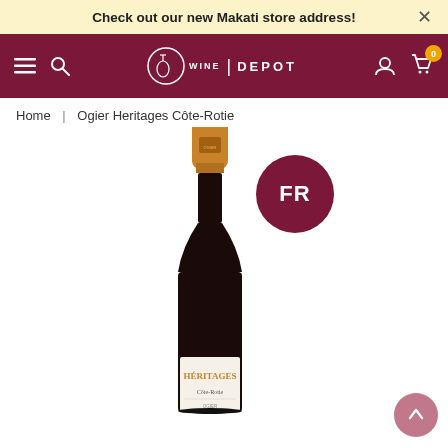Check out our new Makati store address!
[Figure (screenshot): Wine Depot navigation bar with hamburger menu, search icon, Wine Depot logo (circle with wine glass and WINE | DEPOT text), user account icon, and shopping cart icon with badge showing 0]
Home | Ogier Heritages Côte-Rotie
[Figure (photo): Wine bottle of Ogier Heritages Côte-Rotie with gold/orange capsule, dark bottle body, white label showing HÉRITAGES text and Côte-Rotie appellation. A dark red circular FR country badge overlaps the upper right of the bottle.]